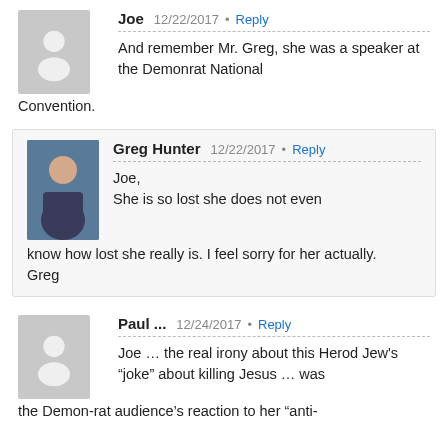Joe  12/22/2017  Reply
And remember Mr. Greg, she was a speaker at the Demonrat National Convention.
Greg Hunter  12/22/2017  Reply
Joe,
She is so lost she does not even know how lost she really is. I feel sorry for her actually.
Greg
Paul ...  12/24/2017  Reply
Joe … the real irony about this Herod Jew's “joke” about killing Jesus … was the Demon-rat audience’s reaction to her “anti-